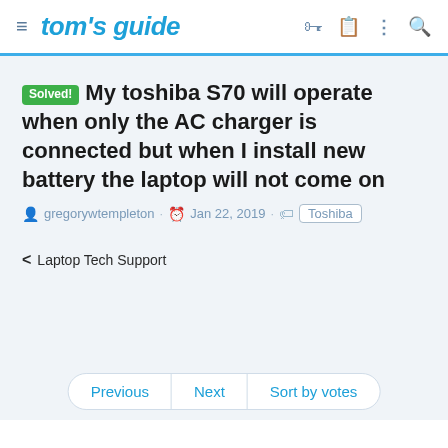tom's guide
Solved! My toshiba S70 will operate when only the AC charger is connected but when I install new battery the laptop will not come on
gregorywtempleton · Jan 22, 2019 · Toshiba
< Laptop Tech Support
Previous | Next | Sort by votes